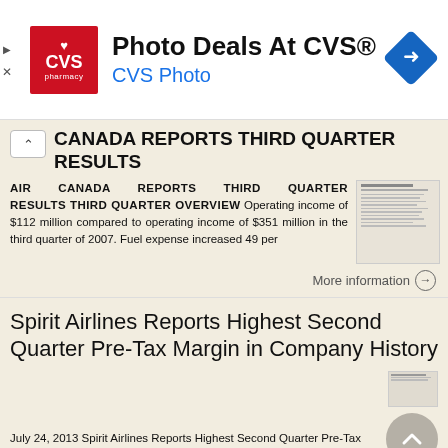[Figure (other): CVS Pharmacy advertisement banner with red logo, 'Photo Deals At CVS®' headline in bold, 'CVS Photo' subtitle in blue, and a blue diamond navigation icon on the right]
AIR CANADA REPORTS THIRD QUARTER RESULTS
AIR CANADA REPORTS THIRD QUARTER RESULTS THIRD QUARTER OVERVIEW Operating income of $112 million compared to operating income of $351 million in the third quarter of 2007. Fuel expense increased 49 per
More information →
Spirit Airlines Reports Highest Second Quarter Pre-Tax Margin in Company History
July 24, 2013 Spirit Airlines Reports Highest Second Quarter Pre-Tax Margin in Company